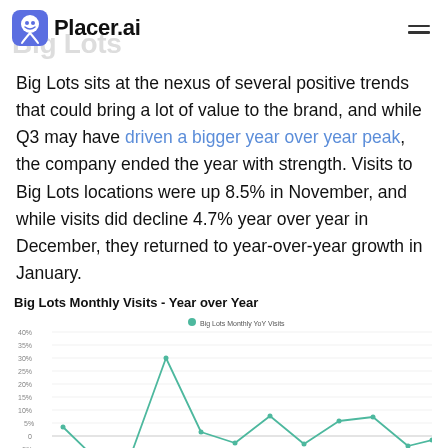Placer.ai
Big Lots
Big Lots sits at the nexus of several positive trends that could bring a lot of value to the brand, and while Q3 may have driven a bigger year over year peak, the company ended the year with strength. Visits to Big Lots locations were up 8.5% in November, and while visits did decline 4.7% year over year in December, they returned to year-over-year growth in January.
[Figure (line-chart): Big Lots Monthly Visits - Year over Year]